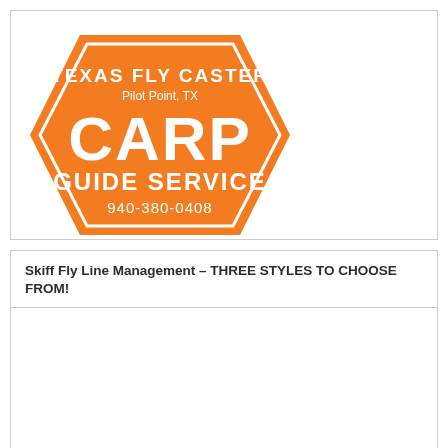[Figure (logo): Texas Fly Caster Carp Guide Service logo — orange hexagon badge with white text reading TEXAS FLY CASTER, Pilot Point TX, CARP, GUIDE SERVICE, 940-380-0408]
Skiff Fly Line Management – THREE STYLES TO CHOOSE FROM!